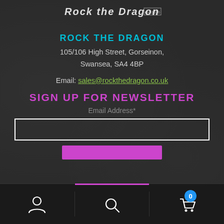[Figure (logo): Rock The Dragon handwritten-style logo with Est 2016 badge]
ROCK THE DRAGON
105/106 High Street, Gorseinon, Swansea, SA4 4BP
Email: sales@rockthedragon.co.uk
SIGN UP FOR NEWSLETTER
Email Address*
[Figure (screenshot): Email address input field (empty text box)]
[Figure (screenshot): Purple submit button bar]
[Figure (screenshot): Bottom navigation bar with account icon, search icon, and cart icon with badge showing 0]